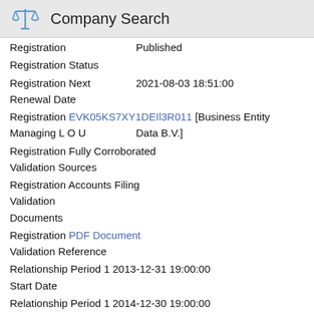Company Search
Registration	Published
Registration Status
Registration Next Renewal Date	2021-08-03 18:51:00
Registration Managing L O U	EVK05KS7XY1DEIl3R011 [Business Entity Data B.V.]
Registration Validation Sources	Fully Corroborated
Registration Validation Documents	Accounts Filing
Registration Validation Reference	PDF Document
Relationship Period 1 Start Date	2013-12-31 19:00:00
Relationship Period 1 End Date	2014-12-30 19:00:00
Relationship Period 1 Period Type	Accounting Period
Relationship Period 2	2017-11-30 19:00:00